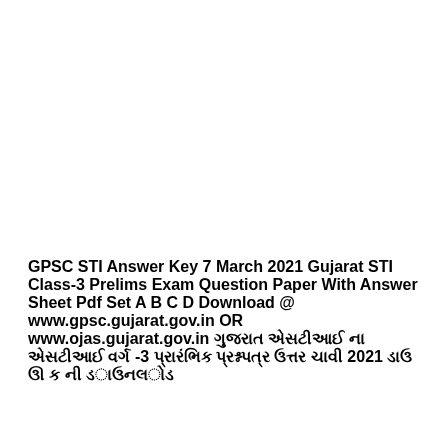GPSC STI Answer Key 7 March 2021 Gujarat STI Class-3 Prelims Exam Question Paper With Answer Sheet Pdf Set A B C D Download @ www.gpsc.gujarat.gov.in OR www.ojas.gujarat.gov.in ગુજરાત એસટીઆઈ વર્ગ -3 પ્રારંભિક પ્રશ્નપત્ર ઉત્તર ચાવી 2021 ની ડાઉનલોડ